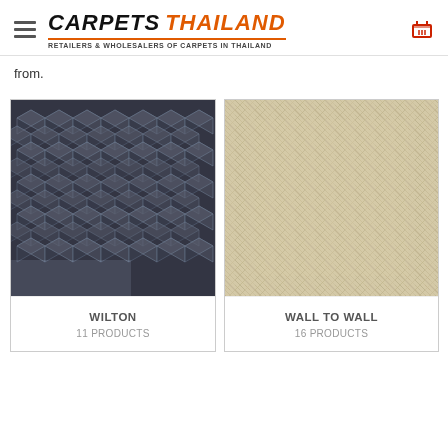CARPETS THAILAND — RETAILERS & WHOLESALERS OF CARPETS IN THAILAND
from.
[Figure (photo): Wilton carpet product image showing dark blue/grey carpet with geometric cube/diamond pattern]
WILTON
11 PRODUCTS
[Figure (photo): Wall to wall carpet product image showing beige/cream carpet with herringbone/chevron woven texture]
WALL TO WALL
16 PRODUCTS